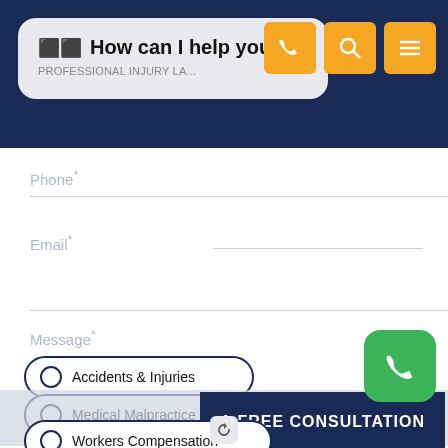How can I help you?
Phone*
Email*
Message*
Accidents & Injuries
Medical Malpractice
Workers Compensation
A FREE CONSULTATION